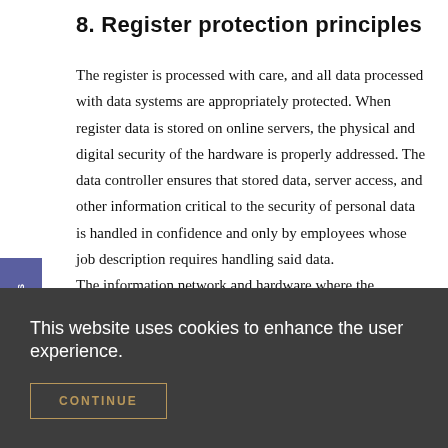8. Register protection principles
The register is processed with care, and all data processed with data systems are appropriately protected. When register data is stored on online servers, the physical and digital security of the hardware is properly addressed. The data controller ensures that stored data, server access, and other information critical to the security of personal data is handled in confidence and only by employees whose job description requires handling said data.
The information network and hardware where the
This website uses cookies to enhance the user experience.
CONTINUE